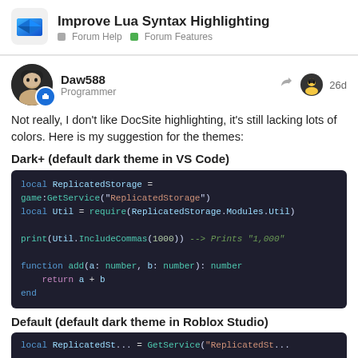Improve Lua Syntax Highlighting — Forum Help · Forum Features
Daw588 · Programmer · 26d
Not really, I don't like DocSite highlighting, it's still lacking lots of colors. Here is my suggestion for the themes:
Dark+ (default dark theme in VS Code)
[Figure (screenshot): Dark+ VS Code theme Lua code snippet showing local variables, print function, and function definition with syntax highlighting]
Default (default dark theme in Roblox Studio)
[Figure (screenshot): Bottom portion of Roblox Studio default dark theme code snippet, partially cut off]